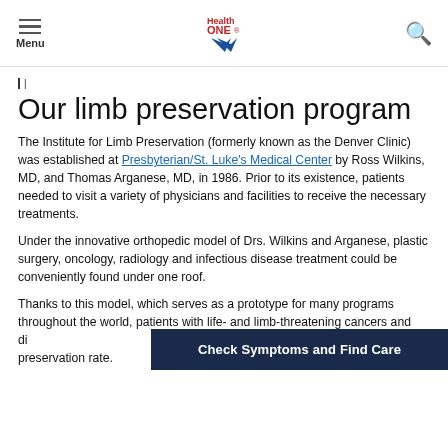Menu | HealthONE logo | Search
Our limb preservation program
The Institute for Limb Preservation (formerly known as the Denver Clinic) was established at Presbyterian/St. Luke's Medical Center by Ross Wilkins, MD, and Thomas Arganese, MD, in 1986. Prior to its existence, patients needed to visit a variety of physicians and facilities to receive the necessary treatments.
Under the innovative orthopedic model of Drs. Wilkins and Arganese, plastic surgery, oncology, radiology and infectious disease treatment could be conveniently found under one roof.
Thanks to this model, which serves as a prototype for many programs throughout the world, patients with life- and limb-threatening cancers and di... survival rate and a 95 percent limb preservation rate.
Check Symptoms and Find Care